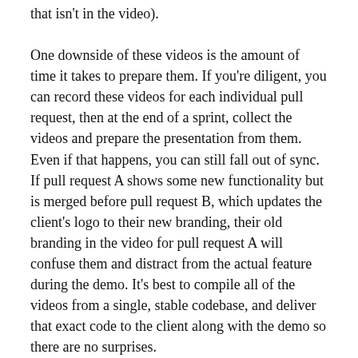that isn't in the video).
One downside of these videos is the amount of time it takes to prepare them. If you're diligent, you can record these videos for each individual pull request, then at the end of a sprint, collect the videos and prepare the presentation from them. Even if that happens, you can still fall out of sync. If pull request A shows some new functionality but is merged before pull request B, which updates the client's logo to their new branding, their old branding in the video for pull request A will confuse them and distract from the actual feature during the demo. It's best to compile all of the videos from a single, stable codebase, and deliver that exact code to the client along with the demo so there are no surprises.
Manually running all of the code and capturing video is a chore, especially for large, productive